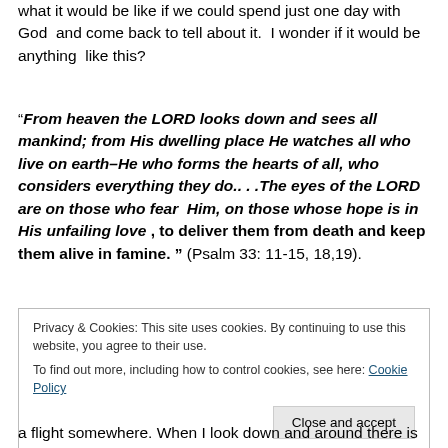what it would be like if we could spend just one day with God and come back to tell about it. I wonder if it would be anything like this?
“From heaven the LORD looks down and sees all mankind; from His dwelling place He watches all who live on earth–He who forms the hearts of all, who considers everything they do.. . .The eyes of the LORD are on those who fear Him, on those whose hope is in His unfailing love , to deliver them from death and keep them alive in famine. ” (Psalm 33: 11-15, 18,19).
Privacy & Cookies: This site uses cookies. By continuing to use this website, you agree to their use.
To find out more, including how to control cookies, see here: Cookie Policy
a flight somewhere. When I look down and around there is